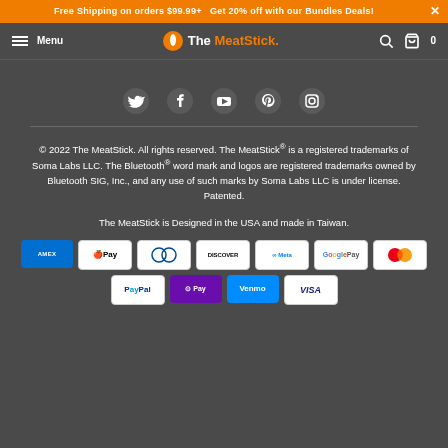Free Shipping on orders $99.99+   Get 20% off with our Bundles Deals!
[Figure (logo): The MeatStick logo with navigation bar including Menu, hamburger icon, search icon, and cart icon]
[Figure (infographic): Social media icons: Twitter, Facebook, YouTube, Pinterest, Instagram]
© 2022 The MeatStick. All rights reserved. The MeatStick® is a registered trademarks of Soma Labs LLC. The Bluetooth® word mark and logos are registered trademarks owned by Bluetooth SIG, Inc., and any use of such marks by Soma Labs LLC is under license. Patented.
The MeatStick is Designed in the USA and made in Taiwan.
[Figure (infographic): Payment method badges: American Express, Apple Pay, Diners Club, Discover, Meta Pay, Google Pay, Mastercard, PayPal, OPay, Venmo, Visa]